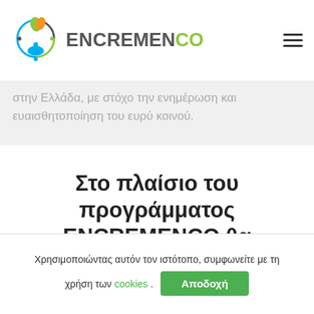ENCREMENCO
στην Ελλάδα, με στόχο την ενημέρωση και ευαισθητοποίηση του ευρύ κοινού.
Στο πλαίσιο του προγράμματος ENCREMENCO θα υλοποιθούν
Χρησιμοποιώντας αυτόν τον ιστότοπο, συμφωνείτε με τη χρήση των cookies. Αποδοχή